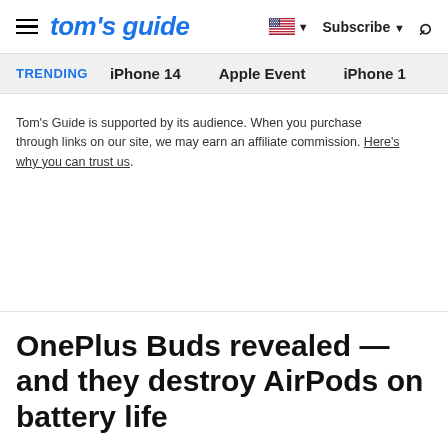tom's guide | Subscribe | Search
TRENDING  iPhone 14  Apple Event  iPhone 1
Tom's Guide is supported by its audience. When you purchase through links on our site, we may earn an affiliate commission. Here's why you can trust us.
OnePlus Buds revealed — and they destroy AirPods on battery life